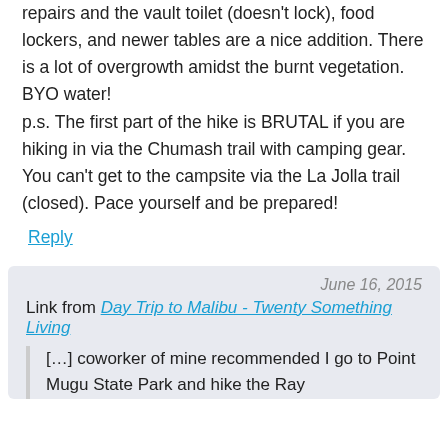repairs and the vault toilet (doesn't lock), food lockers, and newer tables are a nice addition. There is a lot of overgrowth amidst the burnt vegetation. BYO water! p.s. The first part of the hike is BRUTAL if you are hiking in via the Chumash trail with camping gear. You can't get to the campsite via the La Jolla trail (closed). Pace yourself and be prepared!
Reply
June 16, 2015
Link from Day Trip to Malibu - Twenty Something Living
[…] coworker of mine recommended I go to Point Mugu State Park and hike the Ray